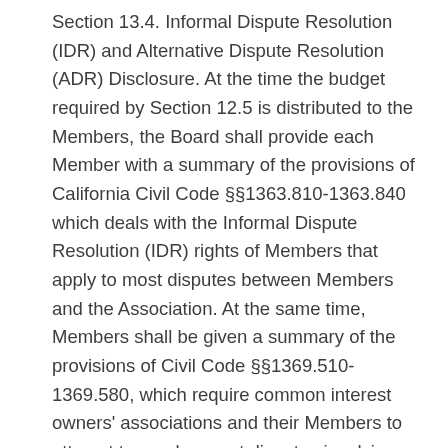Section 13.4. Informal Dispute Resolution (IDR) and Alternative Dispute Resolution (ADR) Disclosure. At the time the budget required by Section 12.5 is distributed to the Members, the Board shall provide each Member with a summary of the provisions of California Civil Code §§1363.810-1363.840 which deals with the Informal Dispute Resolution (IDR) rights of Members that apply to most disputes between Members and the Association. At the same time, Members shall be given a summary of the provisions of Civil Code §§1369.510-1369.580, which require common interest owners' associations and their Members to attempt to resolve most disputes involving the enforcement or interpretation of the Governing Documents through the use of Alternative Dispute Resolution (ADR), rather than civil litigation.
Section 13.5. Disclosure of Schedule of Fines or Other